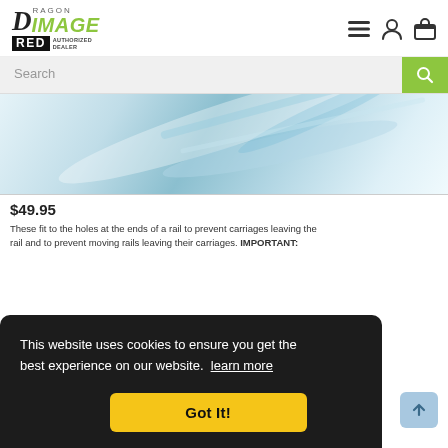[Figure (logo): Dragon Image RED Authorized Dealer logo with green italic IMAGE text and black RED badge]
[Figure (screenshot): Navigation icons: hamburger menu, user account, shopping bag]
[Figure (screenshot): Search bar with green search button]
[Figure (photo): Product image showing metallic/glass rail or tube close-up with blurred background]
$49.95
These fit to the holes at the ends of a rail to prevent carriages leaving the rail and to prevent moving rails leaving their carriages. IMPORTANT:
This website uses cookies to ensure you get the best experience on our website. learn more
[Figure (screenshot): Got It! button in yellow/gold color within cookie consent banner]